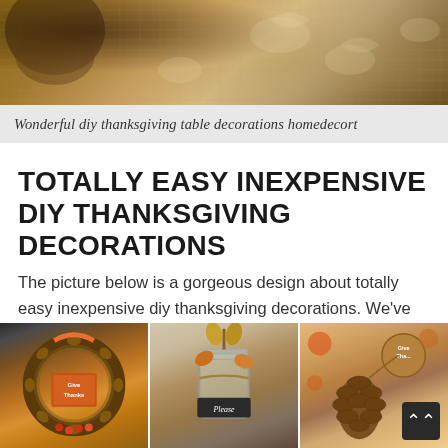[Figure (photo): Close-up photo of burlap/textile fabric with decorative pattern, warm brown tones, possibly a Thanksgiving table decoration backdrop]
Wonderful diy thanksgiving table decorations homedecort
TOTALLY EASY INEXPENSIVE DIY THANKSGIVING DECORATIONS
The picture below is a gorgeous design about totally easy inexpensive diy thanksgiving decorations. We've chosen you out of numerous pictures available on the web. Read the image below for Inspiration.
[Figure (photo): Three thumbnail photos side by side: (1) a Thanksgiving wreath with a 'Give Thanks' sign, (2) a mason jar decoration with turkey/leaf elements and a 'Please' chalkboard sign, (3) a pinecone decoration with a 'Give Thanks' circular tag]